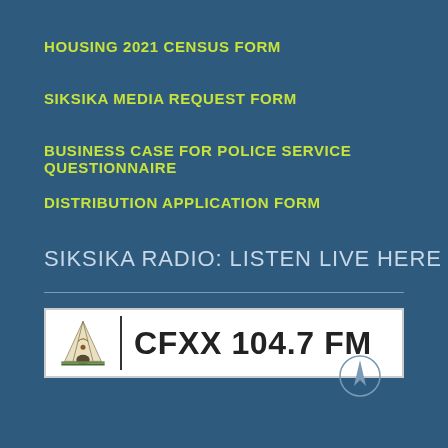HOUSING 2021 CENSUS FORM
SIKSIKA MEDIA REQUEST FORM
BUSINESS CASE FOR POLICE SERVICE QUESTIONNAIRE
DISTRIBUTION APPLICATION FORM
SIKSIKA RADIO: LISTEN LIVE HERE
[Figure (logo): CFXX 104.7 FM radio station logo with teepee icon on white background]
[Figure (other): Arrow compass circle icon, bottom right corner]